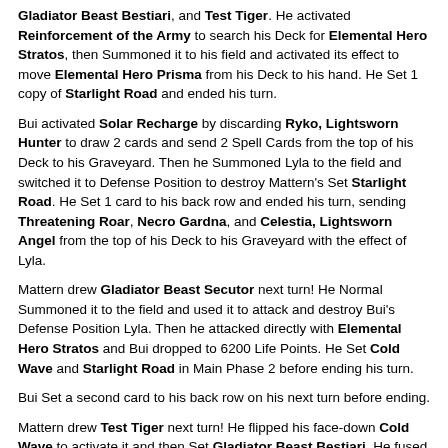Gladiator Beast Bestiari, and Test Tiger. He activated Reinforcement of the Army to search his Deck for Elemental Hero Stratos, then Summoned it to his field and activated its effect to move Elemental Hero Prisma from his Deck to his hand. He Set 1 copy of Starlight Road and ended his turn.
Bui activated Solar Recharge by discarding Ryko, Lightsworn Hunter to draw 2 cards and send 2 Spell Cards from the top of his Deck to his Graveyard. Then he Summoned Lyla to the field and switched it to Defense Position to destroy Mattern's Set Starlight Road. He Set 1 card to his back row and ended his turn, sending Threatening Roar, Necro Gardna, and Celestia, Lightsworn Angel from the top of his Deck to his Graveyard with the effect of Lyla.
Mattern drew Gladiator Beast Secutor next turn! He Normal Summoned it to the field and used it to attack and destroy Bui's Defense Position Lyla. Then he attacked directly with Elemental Hero Stratos and Bui dropped to 6200 Life Points. He Set Cold Wave and Starlight Road in Main Phase 2 before ending his turn.
Bui Set a second card to his back row on his next turn before ending.
Mattern drew Test Tiger next turn! He flipped his face-down Cold Wave to activate it and then Set Gladiator Beast Bestiari. He fused Gladiator Beast Bestiari with Secutor to Summon Gladiator Beast Gyzarus and destroy Bui's Set Mirror Force and Torrential Tribute. Stratos attacked directly, dropping Bui to 4400 Life Points, and Gyzarus's attack was negated when Bui removed Necro Gardna from his Graveyard.
Bui Summoned Judgment Dragon...